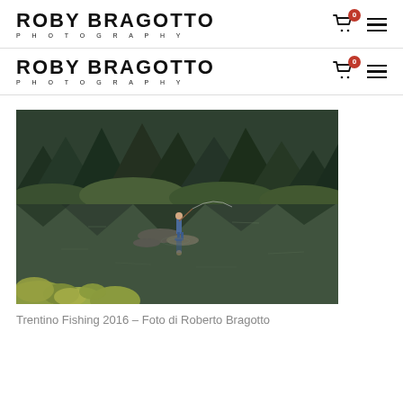ROBY BRAGOTTO PHOTOGRAPHY
ROBY BRAGOTTO PHOTOGRAPHY
[Figure (photo): A person fly-fishing while standing on rocks in a calm mountain lake or river, surrounded by dense forest and autumn vegetation, with a clear reflection in the still water.]
Trentino Fishing 2016 – Foto di Roberto Bragotto